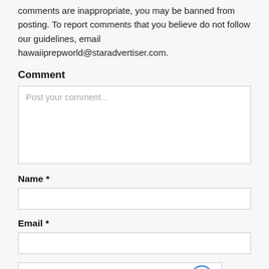comments are inappropriate, you may be banned from posting. To report comments that you believe do not follow our guidelines, email hawaiiprepworld@staradvertiser.com.
Comment
Post your comment...
Name *
Email *
[Figure (other): reCAPTCHA widget box with arrow icon]